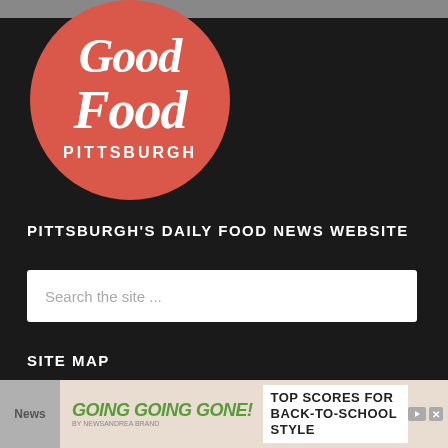[Figure (logo): Good Food Pittsburgh circular logo — red/salmon circle with white script text 'Good Food' and 'PITTSBURGH' in white bold caps below]
PITTSBURGH'S DAILY FOOD NEWS WEBSITE
Search the site ...
SITE MAP
[Figure (other): Advertisement banner: 'GOING GOING GONE!' in green italic text with 'TOP SCORES FOR BACK-TO-SCHOOL STYLE' on right side, with play and close buttons]
News